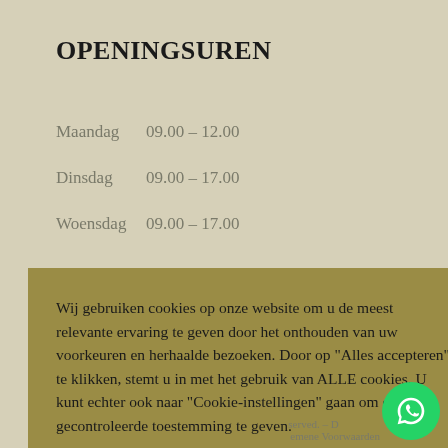OPENINGSUREN
Maandag   09.00 – 12.00
Dinsdag    09.00 – 17.00
Woensdag  09.00 – 17.00
Wij gebruiken cookies op onze website om u de meest relevante ervaring te geven door het onthouden van uw voorkeuren en herhaalde bezoeken. Door op "Alles accepteren" te klikken, stemt u in met het gebruik van ALLE cookies. U kunt echter ook naar "Cookie-instellingen" gaan om een gecontroleerde toestemming te geven.
Cookie instellingen   Alles accepteren
served. – Algemene Voorwaarden